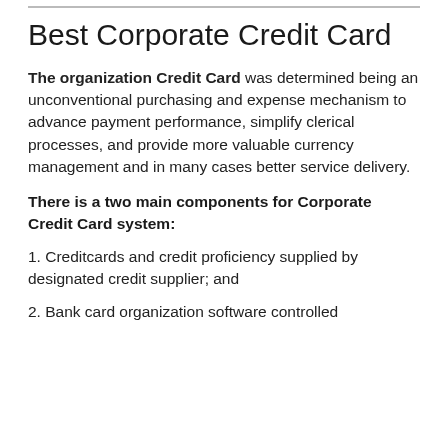Best Corporate Credit Card
The organization Credit Card was determined being an unconventional purchasing and expense mechanism to advance payment performance, simplify clerical processes, and provide more valuable currency management and in many cases better service delivery.
There is a two main components for Corporate Credit Card system:
1. Creditcards and credit proficiency supplied by designated credit supplier; and
2. Bank card organization software controlled